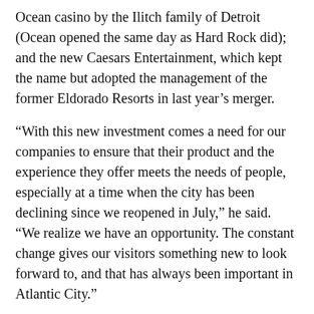Ocean casino by the Ilitch family of Detroit (Ocean opened the same day as Hard Rock did); and the new Caesars Entertainment, which kept the name but adopted the management of the former Eldorado Resorts in last year’s merger.
“With this new investment comes a need for our companies to ensure that their product and the experience they offer meets the needs of people, especially at a time when the city has been declining since we reopened in July,” he said. “We realize we have an opportunity. The constant change gives our visitors something new to look forward to, and that has always been important in Atlantic City.”
It also takes into effect the ongoing competition all around it, from casinos in Pennsylvania, Delaware, New York and other northeastern states that had been eating away at Atlantic City’s market even before the pandemic.